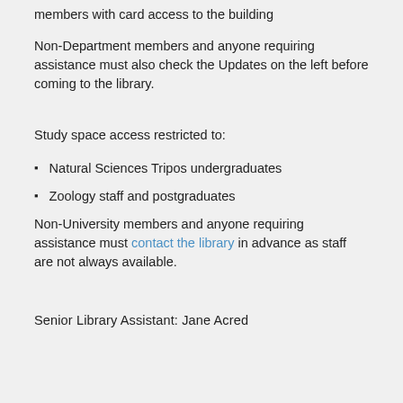members with card access to the building
Non-Department members and anyone requiring assistance must also check the Updates on the left before coming to the library.
Study space access restricted to:
Natural Sciences Tripos undergraduates
Zoology staff and postgraduates
Non-University members and anyone requiring assistance must contact the library in advance as staff are not always available.
Senior Library Assistant: Jane Acred